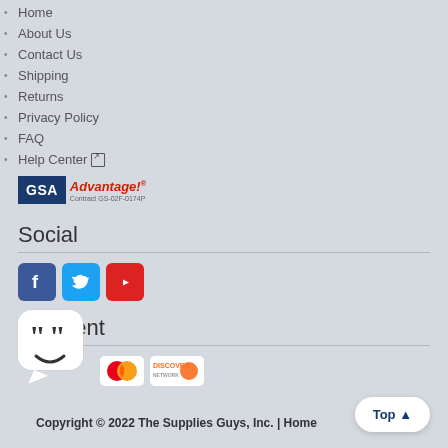Home
About Us
Contact Us
Shipping
Returns
Privacy Policy
FAQ
Help Center
[Figure (logo): GSA Advantage! logo with contract number GS-02F-0174P]
Social
[Figure (other): Social media icons: Facebook, Twitter, YouTube]
Payment
[Figure (other): Payment method icons: American Express, Visa, MasterCard, Discover]
Copyright © 2022 The Supplies Guys, Inc. | Home